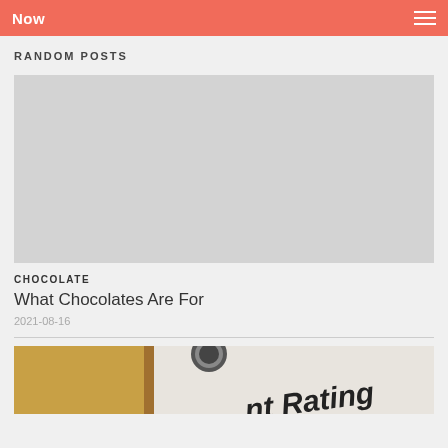Now
RANDOM POSTS
[Figure (photo): Light gray placeholder image for a blog post]
CHOCOLATE
What Chocolates Are For
2021-08-16
[Figure (photo): Partial image showing chocolate and a document with 'nt Rating' text visible]